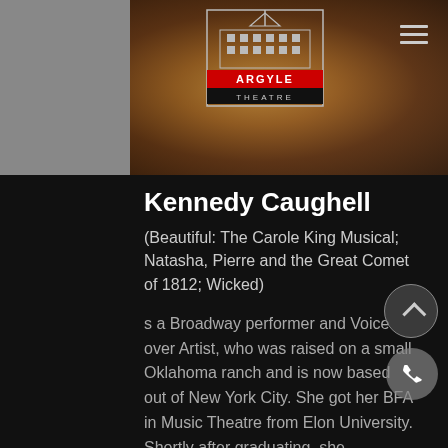[Figure (photo): Photo of Kennedy Caughell with Argyle Theatre logo overlay and hamburger menu icon]
Kennedy Caughell
(Beautiful: The Carole King Musical; Natasha, Pierre and the Great Comet of 1812; Wicked)
s a Broadway performer and Voice over Artist, who was raised on a small Oklahoma ranch and is now based out of New York City. She got her BFA in Music Theatre from Elon University. Shortly after graduating, she performed across the nation and abroad as Heather in American Idiot. Kennedy then traveled the country by broomstick in the National tour of